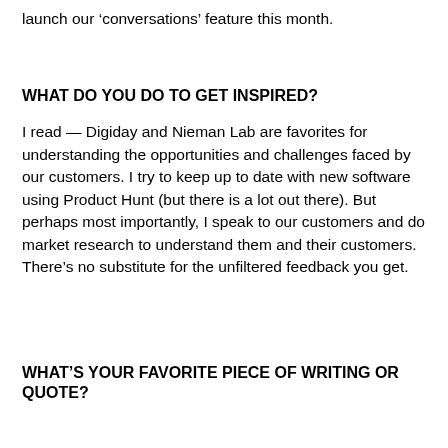launch our ‘conversations’ feature this month.
WHAT DO YOU DO TO GET INSPIRED?
I read — Digiday and Nieman Lab are favorites for understanding the opportunities and challenges faced by our customers. I try to keep up to date with new software using Product Hunt (but there is a lot out there). But perhaps most importantly, I speak to our customers and do market research to understand them and their customers. There’s no substitute for the unfiltered feedback you get.
WHAT’S YOUR FAVORITE PIECE OF WRITING OR QUOTE?